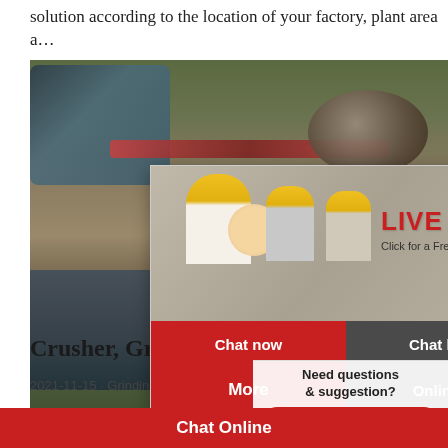solution according to the location of your factory, plant area a…
[Figure (photo): Industrial machinery/grinding mill equipment photo with conveyor belts and rollers in an outdoor setting]
[Figure (screenshot): Live Chat popup overlay with workers in yellow hard hats, LIVE CHAT heading in red, 'Click for a Free Consultation' subtitle, Chat now and Chat later buttons, More and Online C... buttons]
[Figure (photo): Customer service lady with headset, with 'Need questions & suggestion?' text box and red 'Chat Now' oval button]
Crusher, Grinding Mills, Crushing a
2021-11-15 · Grinding Mills: Grinding in the…
Chat Online